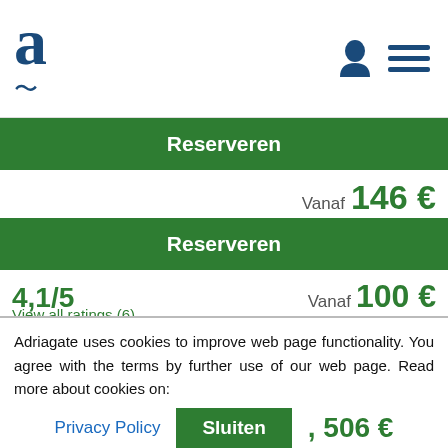Adriagate logo and navigation
Reserveren
Vanaf 146 €
Reserveren
4,1/5   Vanaf 100 €
View all ratings (6)
Reserveren
5,0/5   Vanaf 109 €
View all ratings (5)
Adriagate uses cookies to improve web page functionality. You agree with the terms by further use of our web page. Read more about cookies on:
Privacy Policy   Sluiten
, 506 €